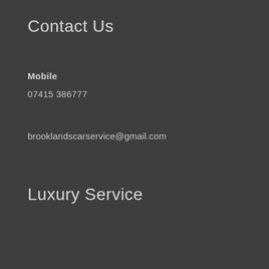Contact Us
Mobile
07415 386777
brooklandscarservice@gmail.com
Luxury Service